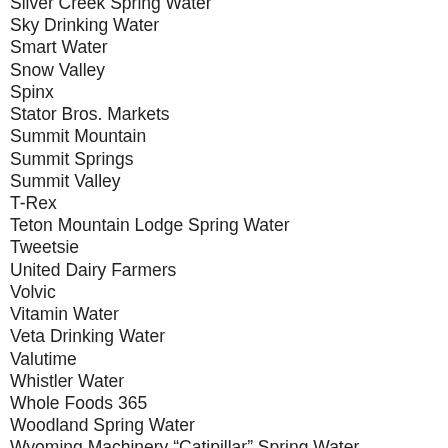Silver Creek Spring Water
Sky Drinking Water
Smart Water
Snow Valley
Spinx
Stator Bros. Markets
Summit Mountain
Summit Springs
Summit Valley
T-Rex
Teton Mountain Lodge Spring Water
Tweetsie
United Dairy Farmers
Volvic
Vitamin Water
Veta Drinking Water
Valutime
Whistler Water
Whole Foods 365
Woodland Spring Water
Wyoming Machinery “Catipillar” Spring Water
Zodiac